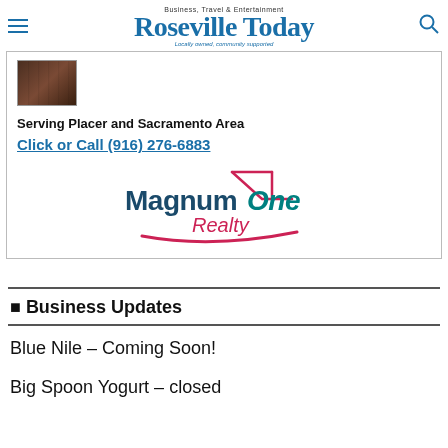Business, Travel & Entertainment
Roseville Today
Locally owned, community supported
[Figure (illustration): Advertisement for Magnum One Realty showing a photo of a woman, text 'Serving Placer and Sacramento Area', 'Click or Call (916) 276-6883', and the Magnum One Realty logo with a house icon and swoosh]
Business Updates
Blue Nile – Coming Soon!
Big Spoon Yogurt – closed